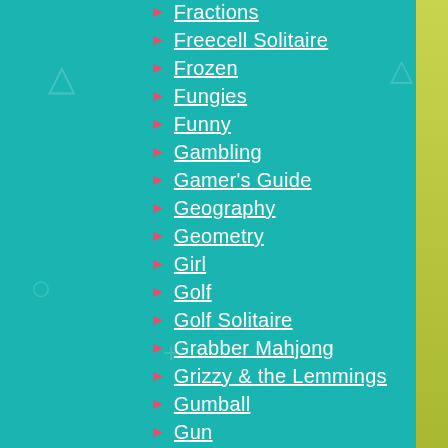Fractions
Freecell Solitaire
Frozen
Fungies
Funny
Gambling
Gamer's Guide
Geography
Geometry
Girl
Golf
Golf Solitaire
Grabber Mahjong
Grizzy & the Lemmings
Gumball
Gun
Halloween
Hand Drawn
Hanukkah